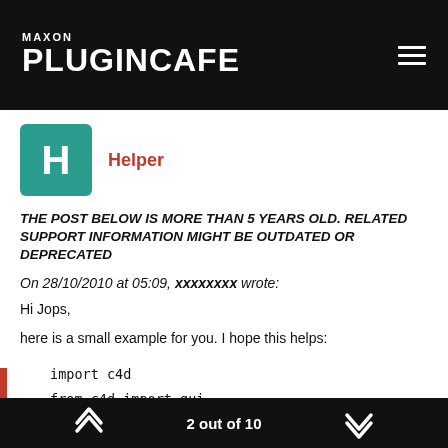MAXON PLUGINCAFE
[Figure (illustration): Teal square avatar with white letter H representing user Helper]
Helper
THE POST BELOW IS MORE THAN 5 YEARS OLD. RELATED SUPPORT INFORMATION MIGHT BE OUTDATED OR DEPRECATED
On 28/10/2010 at 05:09, xxxxxxxx wrote:
Hi Jops,
here is a small example for you. I hope this helps:
import c4d
from c4d import gui
2 out of 10